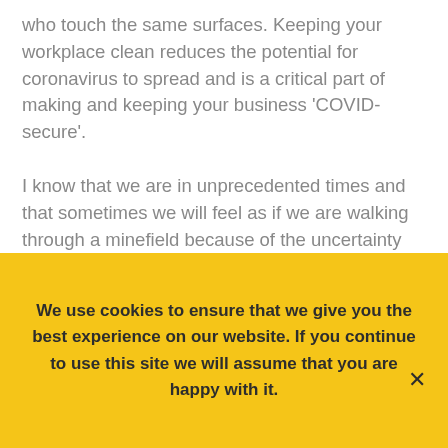who touch the same surfaces. Keeping your workplace clean reduces the potential for coronavirus to spread and is a critical part of making and keeping your business ‘COVID-secure’.

I know that we are in unprecedented times and that sometimes we will feel as if we are walking through a minefield because of the uncertainty we face daily, however remember you are not in this alone and if you are undertaking deep cleaning and disinfection works yourself, don’t be afraid to ask for advice or help from an
We use cookies to ensure that we give you the best experience on our website. If you continue to use this site we will assume that you are happy with it.